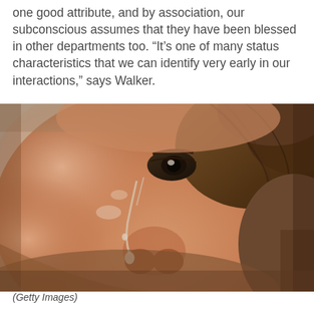one good attribute, and by association, our subconscious assumes that they have been blessed in other departments too. “It’s one of many status characteristics that we can identify very early in our interactions,” says Walker.
[Figure (photo): Close-up photograph of a person's face with tears streaming down their cheek, eyes looking downward, with curly hair visible in the background. The image is in color with warm skin tones.]
(Getty Images)